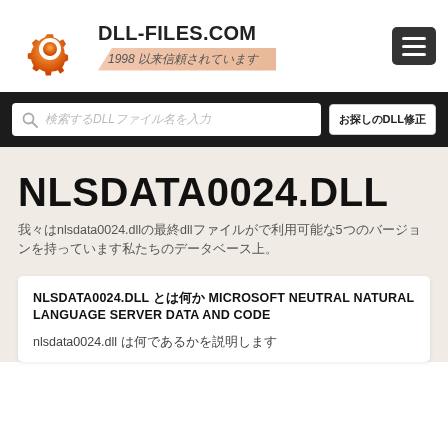[Figure (logo): DLL-FILES.COM logo with orange gear icon and tagline '1998 以来信頼されています']
DLL-FILES.COM 1998 以来信頼されています
検索するDLLファイル名を入力
お探しのDLL修正
NLSDATA0024.DLL
我々はnlsdata0024.dllの最終dllファイルがで利用可能な5つのバージョンを持っています私たちのデータベース上。
NLSDATA0024.DLL とは何か MICROSOFT NEUTRAL NATURAL LANGUAGE SERVER DATA AND CODE
nlsdata0024.dll は何であるかを説明します